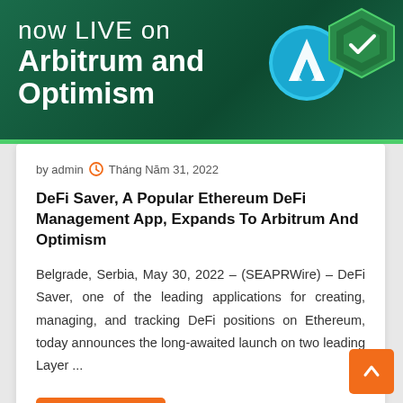[Figure (illustration): Dark green banner with text 'now LIVE on Arbitrum and Optimism' and blockchain logos (Arbitrum blue circle, Optimism green hexagon) on the right side]
by admin  Tháng Năm 31, 2022
DeFi Saver, A Popular Ethereum DeFi Management App, Expands To Arbitrum And Optimism
Belgrade, Serbia, May 30, 2022 – (SEAPRWire) – DeFi Saver, one of the leading applications for creating, managing, and tracking DeFi positions on Ethereum, today announces the long-awaited launch on two leading Layer ...
Đọc Thêm